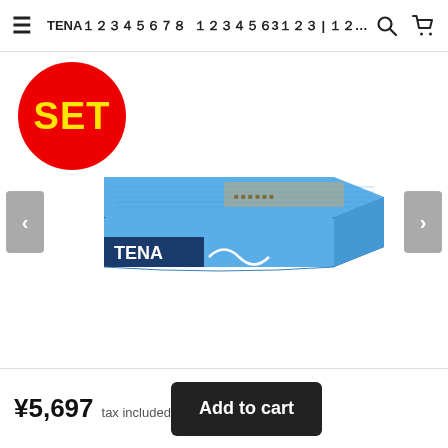≡  TENAパンツ スーパー3枚セット | 公式 ...  🔍  🛒
[Figure (photo): Product image of a TENA brand adult diaper/pad package in blue color, shown at an angle. A red circular badge with yellow 'SET' text is overlaid on the upper left. Left and right navigation arrow buttons are visible on the sides.]
¥5,697  tax included
Add to cart